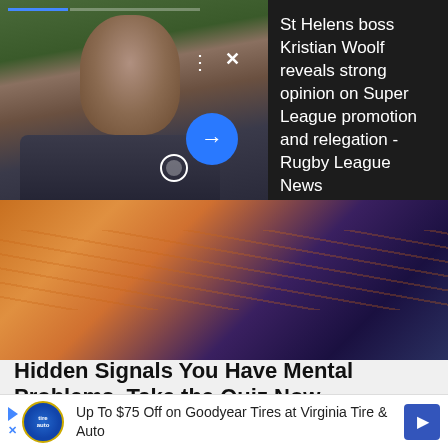[Figure (photo): News card with photo of a man in a dark jacket looking down, on a green field background. Has progress bar, dots/close icons, and a blue arrow button. Right side shows dark panel with article title.]
St Helens boss Kristian Woolf reveals strong opinion on Super League promotion and relegation - Rugby League News
[Figure (photo): Close-up photo of orange and blue sleeping bag material, warm vs cool tones contrast.]
Hidden Signals You Have Mental Problems. Take the Quiz Now
Mental Health
[Figure (photo): Bottom image card showing a car in muted blue-grey tones with an X close button overlay.]
Up To $75 Off on Goodyear Tires at Virginia Tire & Auto